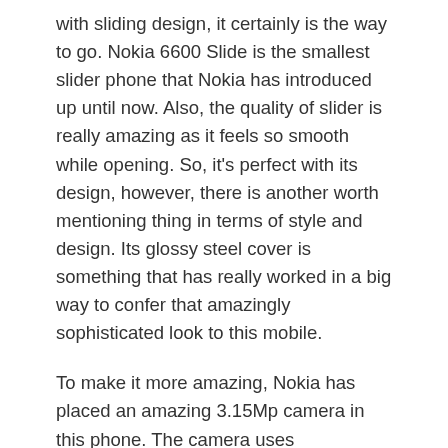with sliding design, it certainly is the way to go. Nokia 6600 Slide is the smallest slider phone that Nokia has introduced up until now. Also, the quality of slider is really amazing as it feels so smooth while opening. So, it's perfect with its design, however, there is another worth mentioning thing in terms of style and design. Its glossy steel cover is something that has really worked in a big way to confer that amazingly sophisticated look to this mobile.
To make it more amazing, Nokia has placed an amazing 3.15Mp camera in this phone. The camera uses 2048×1536 pixels which certainly provide that great quality pictures. Flash has really become an essential feature for mobile phones as it is not difficult these days to find a camera phone but finding a camera phone with flash is a bit...